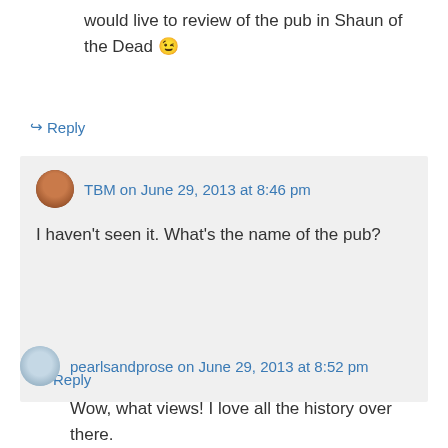would live to review of the pub in Shaun of the Dead 😉
↳ Reply
TBM on June 29, 2013 at 8:46 pm
I haven't seen it. What's the name of the pub?
↳ Reply
pearlsandprose on June 29, 2013 at 8:52 pm
Wow, what views! I love all the history over there.